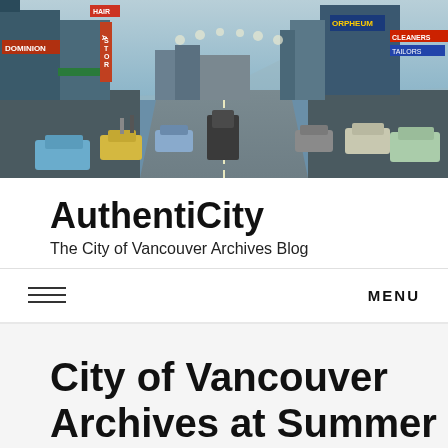[Figure (photo): Vintage color photograph of a busy urban street scene, likely Granville Street in Vancouver, showing mid-20th century storefronts with neon signs (Dominion, Astor, Orpheum, Hair), streetlights, cars from the 1950s-60s era, and a long straight road receding into the distance with mountains in the background.]
AuthentiCity
The City of Vancouver Archives Blog
MENU
City of Vancouver Archives at Summer